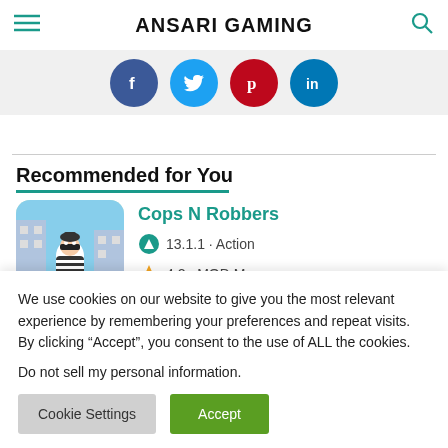ANSARI GAMING
[Figure (illustration): Social share buttons: Facebook (blue), Twitter (light blue), Pinterest (red), LinkedIn (blue)]
Recommended for You
[Figure (illustration): App listing card for Cops N Robbers: game icon showing a robber character in a city scene, version 13.1.1, Action category, rating 4.2, MOD Money]
Cops N Robbers
13.1.1 · Action
4.2 · MOD Money
We use cookies on our website to give you the most relevant experience by remembering your preferences and repeat visits. By clicking “Accept”, you consent to the use of ALL the cookies.
Do not sell my personal information.